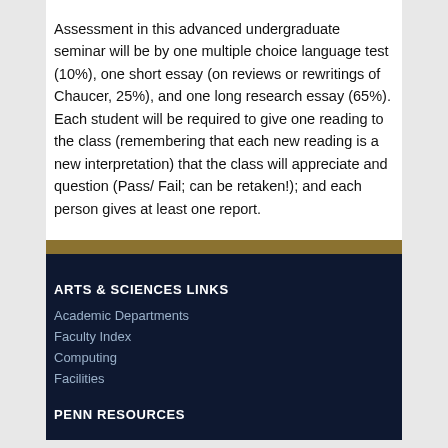Assessment in this advanced undergraduate seminar will be by one multiple choice language test (10%), one short essay (on reviews or rewritings of Chaucer, 25%), and one long research essay (65%). Each student will be required to give one reading to the class (remembering that each new reading is a new interpretation) that the class will appreciate and question (Pass/ Fail; can be retaken!); and each person gives at least one report.
ARTS & SCIENCES LINKS
Academic Departments
Faculty Index
Computing
Facilities
PENN RESOURCES